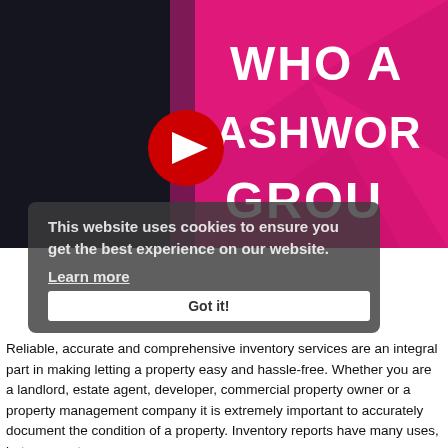[Figure (screenshot): YouTube video thumbnail screenshot showing a man in a suit on the left against a pink/magenta background with white bold text reading 'WHO A... ASHWOR... GROU...' and a YouTube play button icon in the center.]
This website uses cookies to ensure you get the best experience on our website.
Learn more
Got it!
Reliable, accurate and comprehensive inventory services are an integral part in making letting a property easy and hassle-free. Whether you are a landlord, estate agent, developer, commercial property owner or a property management company it is extremely important to accurately document the condition of a property. Inventory reports have many uses, but are most